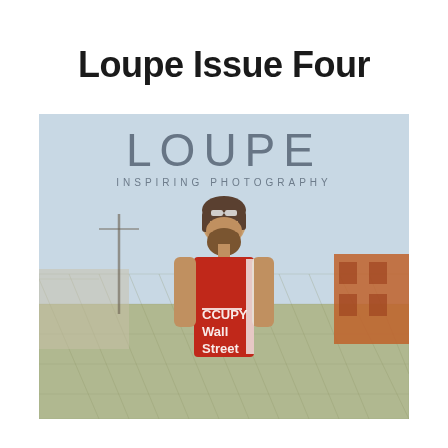Loupe Issue Four
[Figure (photo): Magazine cover of LOUPE - Inspiring Photography, Issue Four. Shows a bearded man wearing a red 'Occupy Wall Street' sleeveless jersey, standing in front of a chain-link fence with an urban background. The LOUPE logo and 'INSPIRING PHOTOGRAPHY' subtitle appear at the top of the cover image.]